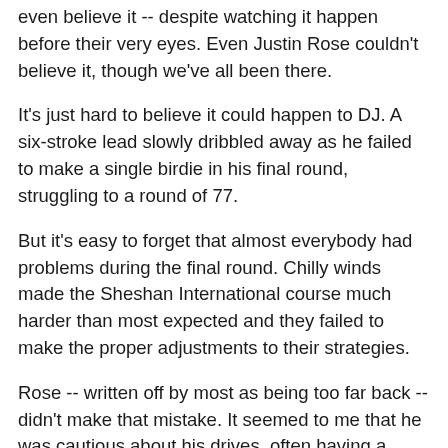even believe it -- despite watching it happen before their very eyes. Even Justin Rose couldn't believe it, though we've all been there.
It's just hard to believe it could happen to DJ. A six-stroke lead slowly dribbled away as he failed to make a single birdie in his final round, struggling to a round of 77.
But it's easy to forget that almost everybody had problems during the final round. Chilly winds made the Sheshan International course much harder than most expected and they failed to make the proper adjustments to their strategies.
Rose -- written off by most as being too far back -- didn't make that mistake. It seemed to me that he was cautious about his drives, often having a longer shot into the greens than his playing opponents but managing to play from the fairways. While the rest bombed shots long and wide of their targets, often attacking sucker pins, Rose tended to hit lower shots into the safer areas of the greens and trusted his putter. The result was the low round of the day, tied only by Phil Mickelson.